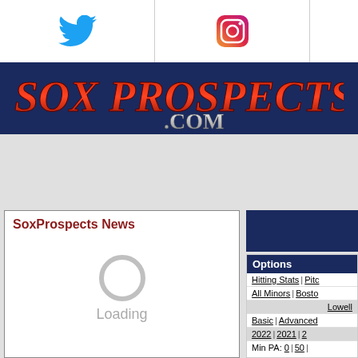[Figure (logo): Twitter bird icon in blue]
[Figure (logo): Instagram camera icon with gradient]
[Figure (logo): SoxProspects.com logo on dark navy background, red and silver text]
SoxProspects News
Loading
[Figure (other): Loading spinner ring]
Options
Hitting Stats | Pitc…
All Minors | Bosto…
Lowell
Basic | Advanced
2022 | 2021 | 2…
Min PA: 0 | 50 |